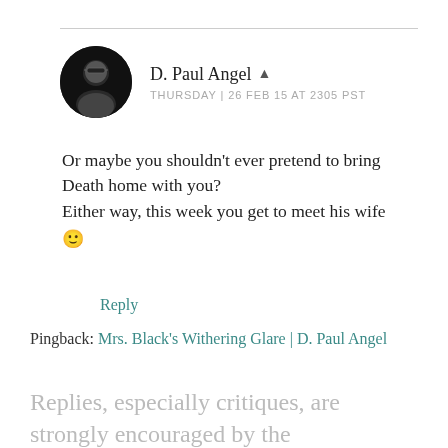[Figure (photo): Circular avatar photo of a person with glasses, dark hair, against a dark background]
D. Paul Angel ▲
THURSDAY | 26 FEB 15 AT 2305 PST
Or maybe you shouldn't ever pretend to bring Death home with you?
Either way, this week you get to meet his wife 🙂
Reply
Pingback: Mrs. Black's Withering Glare | D. Paul Angel
Replies, especially critiques, are strongly encouraged by the establishment.